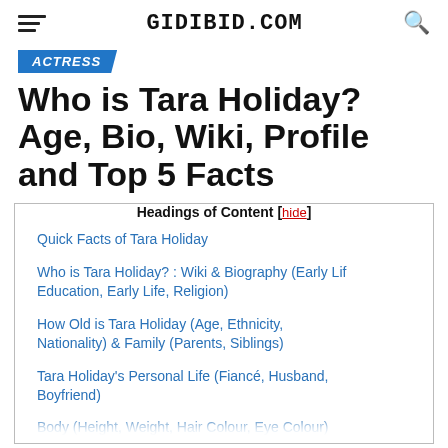GIDIBID.COM
ACTRESS
Who is Tara Holiday? Age, Bio, Wiki, Profile and Top 5 Facts
Headings of Content [hide]
Quick Facts of Tara Holiday
Who is Tara Holiday? : Wiki & Biography (Early Life, Education, Early Life, Religion)
How Old is Tara Holiday (Age, Ethnicity, Nationality) & Family (Parents, Siblings)
Tara Holiday's Personal Life (Fiancé, Husband, Boyfriend)
Body (Height, Weight, Hair Colour, Eye Colour)